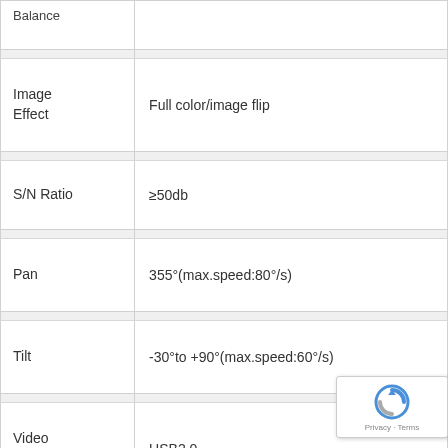| Parameter | Value |
| --- | --- |
|  |  |
| Image Effect | Full color/image flip |
|  |  |
| S/N Ratio | ≥50db |
|  |  |
| Pan | 355°(max.speed:80°/s) |
|  |  |
| Tilt | -30°to +90°(max.speed:60°/s) |
|  |  |
| Video Output | USB2.0 |
| HD |  |